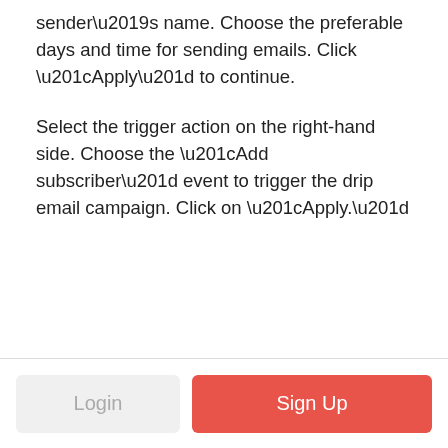sender’s name. Choose the preferable days and time for sending emails. Click “Apply” to continue.
Select the trigger action on the right-hand side. Choose the “Add subscriber” event to trigger the drip email campaign. Click on “Apply.”
Login | Sign Up